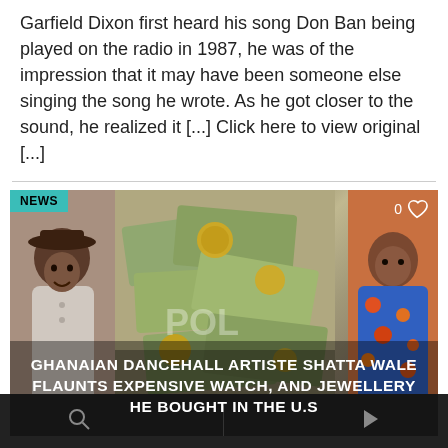Garfield Dixon first heard his song Don Ban being played on the radio in 1987, he was of the impression that it may have been someone else singing the song he wrote. As he got closer to the sound, he realized it [...] Click here to view original [...]
[Figure (screenshot): News article card with three image panels showing a man in a hat, money/currency, and a man in a colorful shirt. Badge reads NEWS. Title overlay reads: GHANAIAN DANCEHALL ARTISTE SHATTA WALE FLAUNTS EXPENSIVE WATCH, AND JEWELLERY HE BOUGHT IN THE U.S. Heart icon with count 0.]
Search icon | divider | Play icon